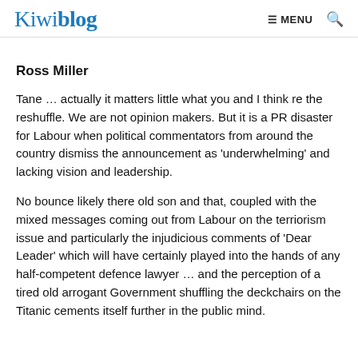Kiwiblog  ≡ MENU  🔍
Ross Miller
Tane … actually it matters little what you and I think re the reshuffle. We are not opinion makers. But it is a PR disaster for Labour when political commentators from around the country dismiss the announcement as 'underwhelming' and lacking vision and leadership.
No bounce likely there old son and that, coupled with the mixed messages coming out from Labour on the terriorism issue and particularly the injudicious comments of 'Dear Leader' which will have certainly played into the hands of any half-competent defence lawyer … and the perception of a tired old arrogant Government shuffling the deckchairs on the Titanic cements itself further in the public mind.